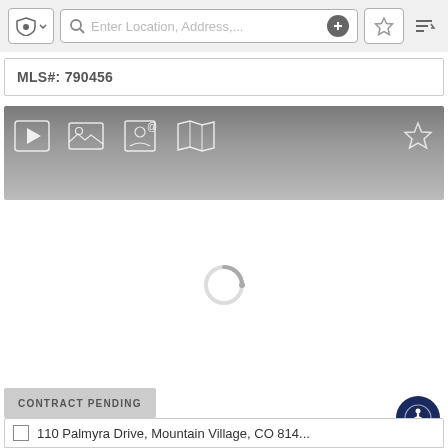[Figure (screenshot): Top navigation/search bar with shield icon, search field with placeholder 'Enter Location, Address,...', plus button, star/favorite button, and sort icon]
MLS#: 790456
[Figure (screenshot): Dark gradient media toolbar with icons: play button, photos, contact/info, map, and a star/favorite icon on the right]
[Figure (screenshot): Loading spinner (circular arc) on white background indicating content is loading]
CONTRACT PENDING
[Figure (screenshot): Accessibility icon button (person in circle) in dark navy blue]
110 Palmyra Drive, Mountain Village, CO 814...